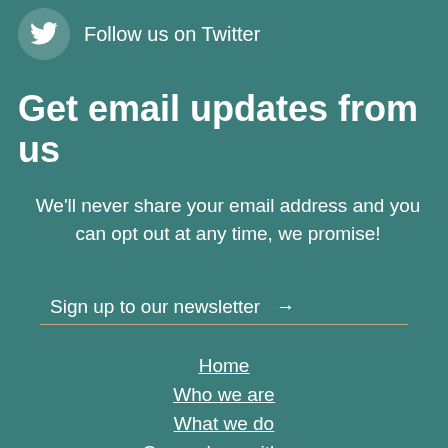[Figure (logo): Twitter bird icon in a circular teal button]
Follow us on Twitter
Get email updates from us
We'll never share your email address and you can opt out at any time, we promise!
Sign up to our newsletter →
Home
Who we are
What we do
Co-produce with us